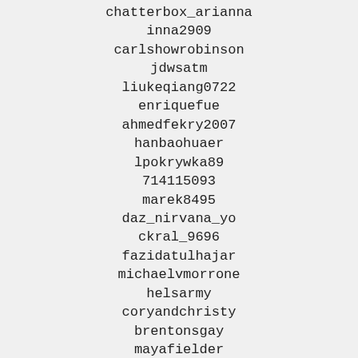chatterbox_arianna
inna2909
carlshowrobinson
jdwsatm
liukeqiang0722
enriquefue
ahmedfekry2007
hanbaohuaer
lpokrywka89
714115093
marek8495
daz_nirvana_yo
ckral_9696
fazidatulhajar
michaelvmorrone
helsarmy
coryandchristy
brentonsgay
mayafielder
angellicafernandez27
guillaume_poirier84
mail.jollyking
jannahwalmcs
joe.inch